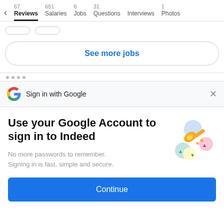67 Reviews  651 Salaries  6 Jobs  31 Questions  Interviews  1 Photos
See more jobs
Sign in with Google
Use your Google Account to sign in to Indeed
No more passwords to remember. Signing in is fast, simple and secure.
Continue